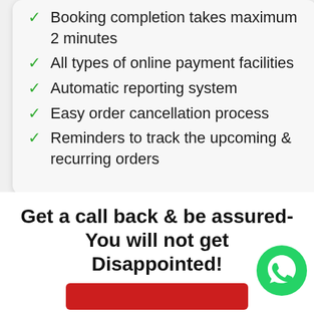Booking completion takes maximum 2 minutes
All types of online payment facilities
Automatic reporting system
Easy order cancellation process
Reminders to track the upcoming & recurring orders
Get a call back & be assured- You will not get Disappointed!